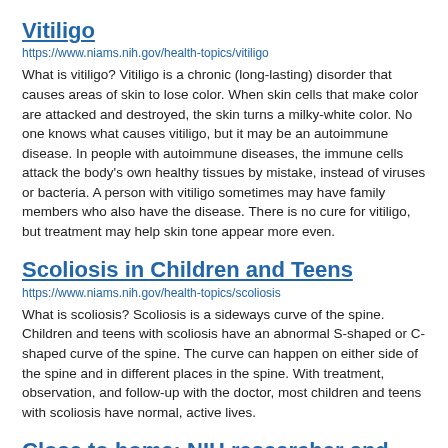Vitiligo
https://www.niams.nih.gov/health-topics/vitiligo
What is vitiligo? Vitiligo is a chronic (long-lasting) disorder that causes areas of skin to lose color. When skin cells that make color are attacked and destroyed, the skin turns a milky-white color. No one knows what causes vitiligo, but it may be an autoimmune disease. In people with autoimmune diseases, the immune cells attack the body's own healthy tissues by mistake, instead of viruses or bacteria. A person with vitiligo sometimes may have family members who also have the disease. There is no cure for vitiligo, but treatment may help skin tone appear more even.
Scoliosis in Children and Teens
https://www.niams.nih.gov/health-topics/scoliosis
What is scoliosis? Scoliosis is a sideways curve of the spine. Children and teens with scoliosis have an abnormal S-shaped or C-shaped curve of the spine. The curve can happen on either side of the spine and in different places in the spine. With treatment, observation, and follow-up with the doctor, most children and teens with scoliosis have normal, active lives.
Close to home: NIH researcher and alopecia